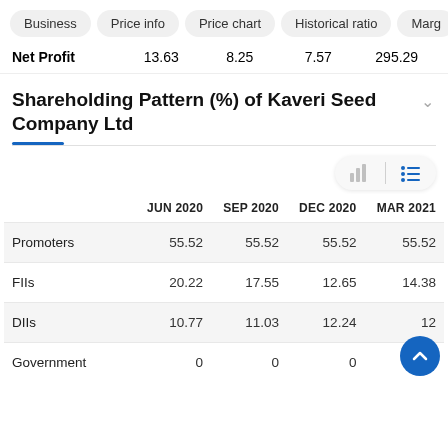Business | Price info | Price chart | Historical ratio | Marg
|  |  |
| --- | --- |
| Net Profit | 13.63 | 8.25 | 7.57 | 295.29 |
Shareholding Pattern (%) of Kaveri Seed Company Ltd
|  | JUN 2020 | SEP 2020 | DEC 2020 | MAR 2021 |
| --- | --- | --- | --- | --- |
| Promoters | 55.52 | 55.52 | 55.52 | 55.52 |
| FIIs | 20.22 | 17.55 | 12.65 | 14.38 |
| DIIs | 10.77 | 11.03 | 12.24 | 12 |
| Government | 0 | 0 | 0 | 0 |